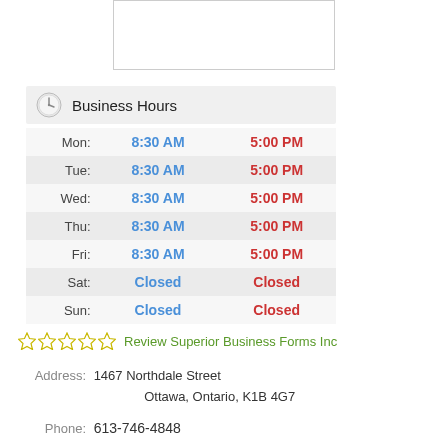[Figure (other): Blank white image placeholder box with border]
Business Hours
| Day | Open | Close |
| --- | --- | --- |
| Mon: | 8:30 AM | 5:00 PM |
| Tue: | 8:30 AM | 5:00 PM |
| Wed: | 8:30 AM | 5:00 PM |
| Thu: | 8:30 AM | 5:00 PM |
| Fri: | 8:30 AM | 5:00 PM |
| Sat: | Closed | Closed |
| Sun: | Closed | Closed |
Review Superior Business Forms Inc
Address: 1467 Northdale Street Ottawa, Ontario, K1B 4G7
Phone: 613-746-4848